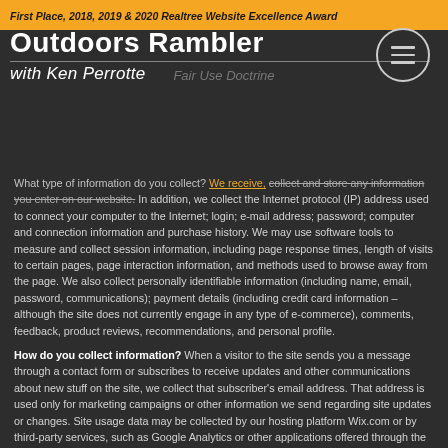First Place, 2018, 2019 & 2020 Realtree Website Excellence Award
Outdoors Rambler
with Ken Perrotte
Fair Use Doctrine
What type of information do you collect? We receive, collect and store any information you enter on our website. In addition, we collect the Internet protocol (IP) address used to connect your computer to the Internet; login; e-mail address; password; computer and connection information and purchase history. We may use software tools to measure and collect session information, including page response times, length of visits to certain pages, page interaction information, and methods used to browse away from the page. We also collect personally identifiable information (including name, email, password, communications); payment details (including credit card information – although the site does not currently engage in any type of e-commerce), comments, feedback, product reviews, recommendations, and personal profile.
How do you collect information? When a visitor to the site sends you a message through a contact form or subscribes to receive updates and other communications about new stuff on the site, we collect that subscriber's email address. That address is used only for marketing campaigns or other information we send regarding site updates or changes. Site usage data may be collected by our hosting platform Wix.com or by third-party services, such as Google Analytics or other applications offered through the Wix App Market, placing cookies or utilizing other tracking technologies through Wix's services, may have their own policies regarding how they collect and store information. As these are external services, such practices are not covered by the Wix Privacy Policy. These services may create aggregated statistical data and other aggregated and/or inferred Non-personal Information, which we or our business partners may use to provide…